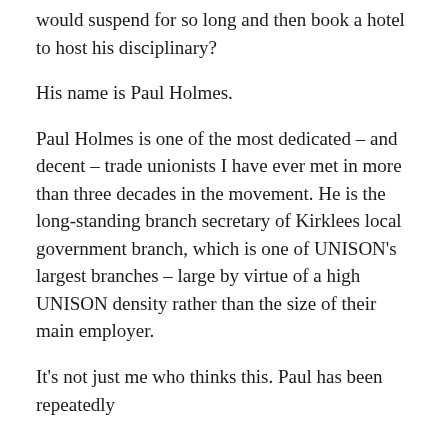would suspend for so long and then book a hotel to host his disciplinary?
His name is Paul Holmes.
Paul Holmes is one of the most dedicated – and decent – trade unionists I have ever met in more than three decades in the movement. He is the long-standing branch secretary of Kirklees local government branch, which is one of UNISON's largest branches – large by virtue of a high UNISON density rather than the size of their main employer.
It's not just me who thinks this. Paul has been repeatedly